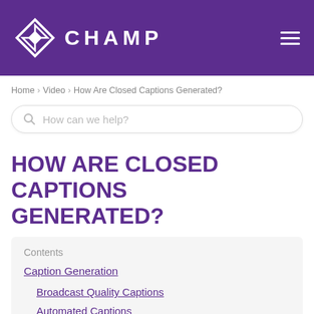[Figure (logo): CHAMP logo with geometric diamond/layers icon in white on purple header background, with hamburger menu icon on right]
Home > Video > How Are Closed Captions Generated?
How can we help?
HOW ARE CLOSED CAPTIONS GENERATED?
Contents
Caption Generation
Broadcast Quality Captions
Automated Captions